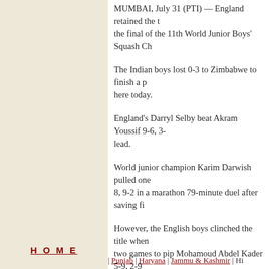MUMBAI, July 31 (PTI) — England retained the t... the final of the 11th World Junior Boys' Squash Ch...
The Indian boys lost 0-3 to Zimbabwe to finish a p... here today.
England's Darryl Selby beat Akram Youssif 9-6, 3-... lead.
World junior champion Karim Darwish pulled one... 8, 9-2 in a marathon 79-minute duel after saving fi...
However, the English boys clinched the title when... two games to pip Mohamoud Abdel Kader 5-9, 2-9...
The Indians performed poorly giving away an earl... without a fight to Zimbabwe's Samson Muhwati 7-...
Soon after Jesse Englbrecht made it 2-0 with a har... in 58-minutes while Mark Tavener clinched the dea... 23-minutes.
Pakistan did well to finish third pipping France 2-1... fifth.
HOME | Punjab | Haryana | Jammu & Kashmir | Hi...